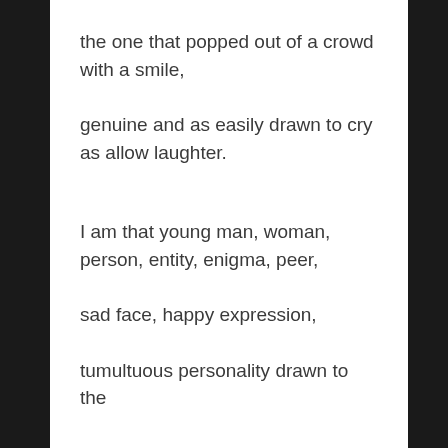the one that popped out of a crowd with a smile,
genuine and as easily drawn to cry as allow laughter.
I am that young man, woman, person, entity, enigma, peer,
sad face, happy expression,
tumultuous personality drawn to the